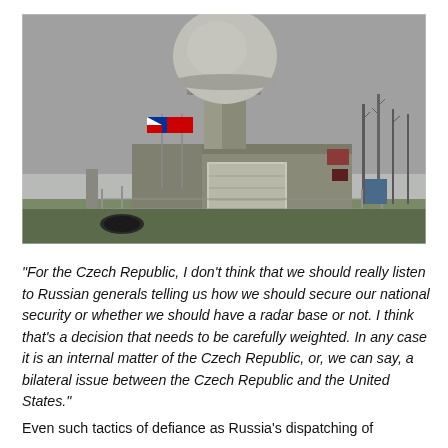[Figure (photo): A radar dome (radome) installation with a large spherical dome on top of a cylindrical tower, mounted on a flat-roofed building. Two flags are visible on flagpoles to the left. The facility is surrounded by a fence. Bare trees are visible in the background against an overcast grey sky.]
"For the Czech Republic, I don't think that we should really listen to Russian generals telling us how we should secure our national security or whether we should have a radar base or not. I think that's a decision that needs to be carefully weighted. In any case it is an internal matter of the Czech Republic, or, we can say, a bilateral issue between the Czech Republic and the United States."
Even such tactics of defiance as Russia's dispatching of